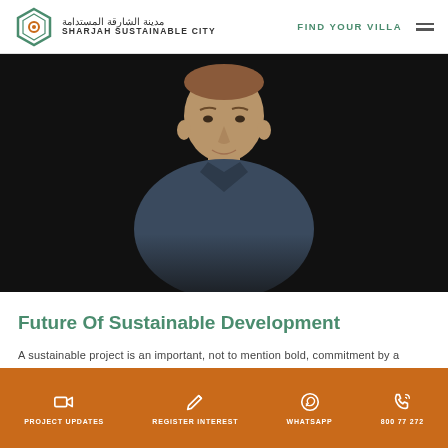Sharjah Sustainable City | FIND YOUR VILLA
[Figure (photo): Portrait photo of a young man in a dark blue polo shirt against a black background, partially cropped]
Future Of Sustainable Development
A sustainable project is an important, not to mention bold, commitment by a developer to&hellip;
PROJECT UPDATES | REGISTER INTEREST | WHATSAPP | 800 77 272